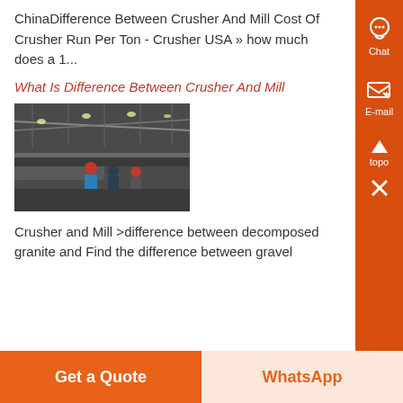ChinaDifference Between Crusher And Mill Cost Of Crusher Run Per Ton - Crusher USA » how much does a 1...
What Is Difference Between Crusher And Mill
[Figure (photo): Industrial facility interior showing machinery and workers with hard hats on a factory floor with overhead lighting and conveyor systems.]
Crusher and Mill >difference between decomposed granite and Find the difference between gravel